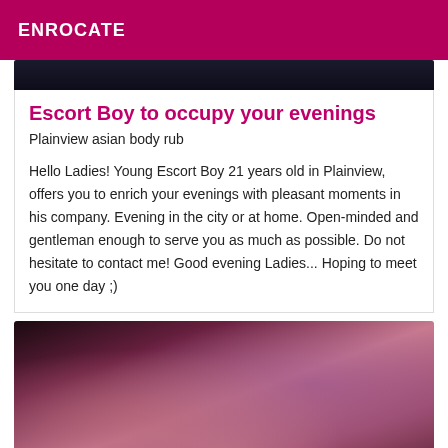ENROCATE
[Figure (photo): Dark background photo, top portion of a listing image]
Escort Boy to occupy your evenings
Plainview asian body rub
Hello Ladies! Young Escort Boy 21 years old in Plainview, offers you to enrich your evenings with pleasant moments in his company. Evening in the city or at home. Open-minded and gentleman enough to serve you as much as possible. Do not hesitate to contact me! Good evening Ladies... Hoping to meet you one day ;)
[Figure (photo): Close-up photo with purple and pink tones, partially visible figure]